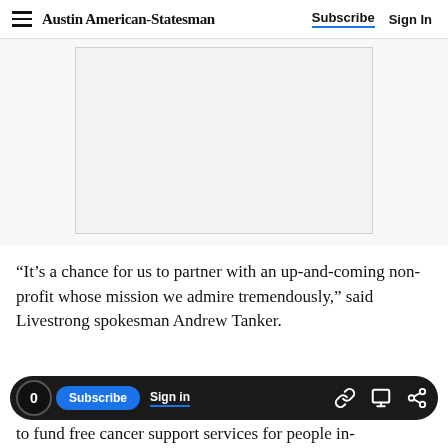Austin American-Statesman | Subscribe | Sign In
[Figure (other): Advertisement placeholder box (light gray rectangle)]
“It’s a chance for us to partner with an up-and-coming non-profit whose mission we admire tremendously,” said Livestrong spokesman Andrew Tanker.
to fund free cancer support services for people in-